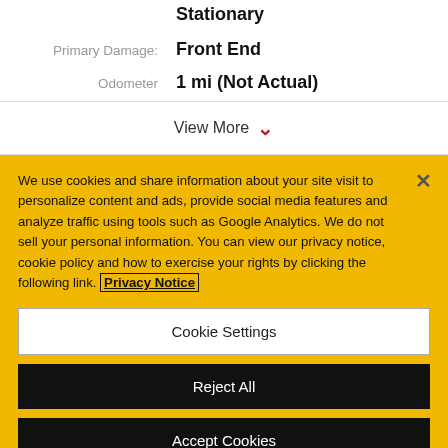Stationary
Primary Damage: Front End
Odometer 1 mi (Not Actual)
View More
We use cookies and share information about your site visit to personalize content and ads, provide social media features and analyze traffic using tools such as Google Analytics. We do not sell your personal information. You can view our privacy notice, cookie policy and how to exercise your rights by clicking the following link. Privacy Notice
Cookie Settings
Reject All
Accept Cookies